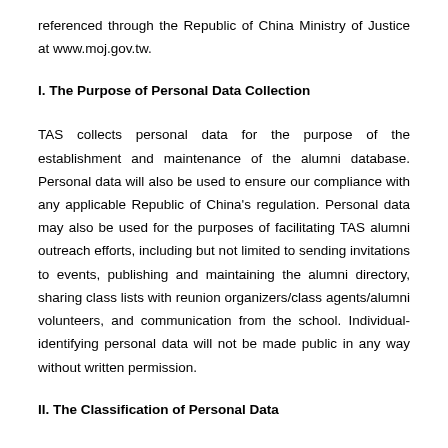referenced through the Republic of China Ministry of Justice at www.moj.gov.tw.
I. The Purpose of Personal Data Collection
TAS collects personal data for the purpose of the establishment and maintenance of the alumni database. Personal data will also be used to ensure our compliance with any applicable Republic of China's regulation. Personal data may also be used for the purposes of facilitating TAS alumni outreach efforts, including but not limited to sending invitations to events, publishing and maintaining the alumni directory, sharing class lists with reunion organizers/class agents/alumni volunteers, and communication from the school. Individual-identifying personal data will not be made public in any way without written permission.
II. The Classification of Personal Data
You will be asked to submit personal identifying data, including but not limited to full names, gender, birthday, phone numbers,